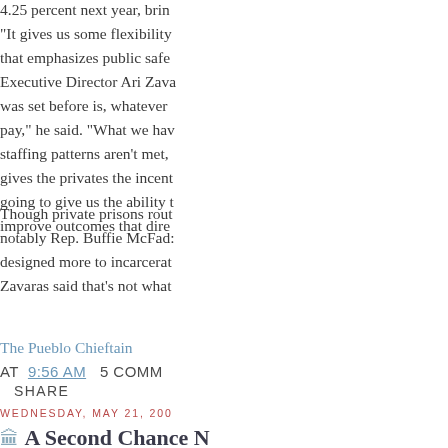4.25 percent next year, brin
"It gives us some flexibility that emphasizes public safety Executive Director Ari Zava was set before is, whatever pay," he said. "What we hav staffing patterns aren't met, gives the privates the incent going to give us the ability t improve outcomes that dire
Though private prisons rout notably Rep. Buffie McFad: designed more to incarcerat Zavaras said that's not what
The Pueblo Chieftain
AT  9:56 AM   5 COMM
SHARE
WEDNESDAY, MAY 21, 200
A Second Chance N
With prison costs soaring, m